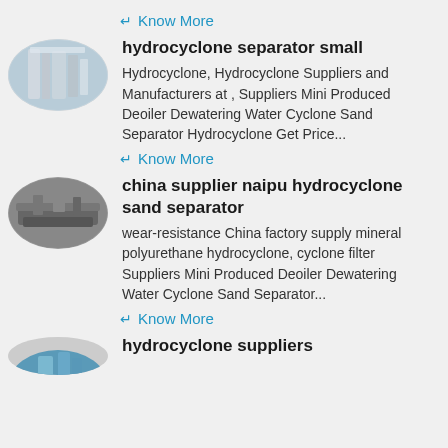Know More
[Figure (photo): Oval-shaped photo of a hydrocyclone separator industrial equipment]
hydrocyclone separator small
Hydrocyclone, Hydrocyclone Suppliers and Manufacturers at , Suppliers Mini Produced Deoiler Dewatering Water Cyclone Sand Separator Hydrocyclone Get Price...
Know More
[Figure (photo): Oval-shaped photo of a china supplier naipu hydrocyclone sand separator industrial machine]
china supplier naipu hydrocyclone sand separator
wear-resistance China factory supply mineral polyurethane hydrocyclone, cyclone filter Suppliers Mini Produced Deoiler Dewatering Water Cyclone Sand Separator...
Know More
[Figure (photo): Oval-shaped photo of hydrocyclone suppliers equipment, partially visible at bottom]
hydrocyclone suppliers